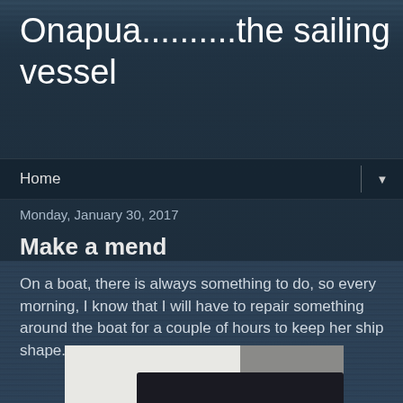Onapua..........the sailing vessel
Home
Monday, January 30, 2017
Make a mend
On a boat, there is always something to do, so every morning, I know that I will have to repair something around the boat for a couple of hours to keep her ship shape.
[Figure (photo): Close-up photograph of a boat deck/hull area showing white fiberglass and a dark black cover or sail bag, partial view of boat equipment]